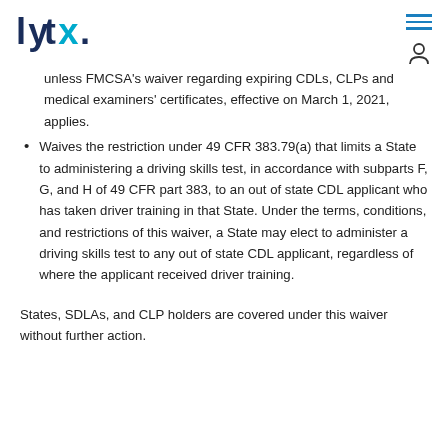lytx
unless FMCSA's waiver regarding expiring CDLs, CLPs and medical examiners' certificates, effective on March 1, 2021, applies.
Waives the restriction under 49 CFR 383.79(a) that limits a State to administering a driving skills test, in accordance with subparts F, G, and H of 49 CFR part 383, to an out of state CDL applicant who has taken driver training in that State. Under the terms, conditions, and restrictions of this waiver, a State may elect to administer a driving skills test to any out of state CDL applicant, regardless of where the applicant received driver training.
States, SDLAs, and CLP holders are covered under this waiver without further action.